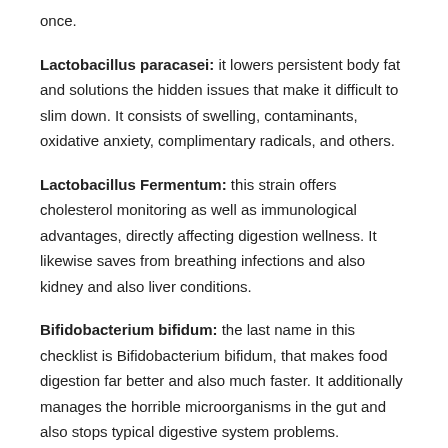once.
Lactobacillus paracasei: it lowers persistent body fat and solutions the hidden issues that make it difficult to slim down. It consists of swelling, contaminants, oxidative anxiety, complimentary radicals, and others.
Lactobacillus Fermentum: this strain offers cholesterol monitoring as well as immunological advantages, directly affecting digestion wellness. It likewise saves from breathing infections and also kidney and also liver conditions.
Bifidobacterium bifidum: the last name in this checklist is Bifidobacterium bifidum, that makes food digestion far better and also much faster. It additionally manages the horrible microorganisms in the gut and also stops typical digestive system problems.